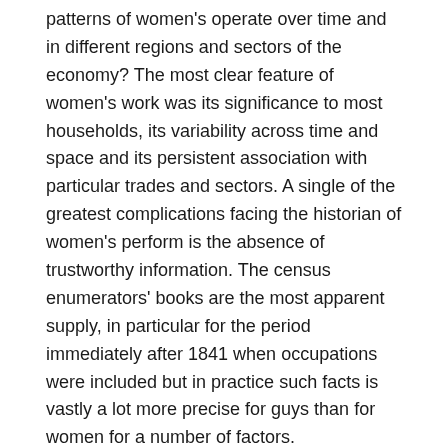patterns of women's operate over time and in different regions and sectors of the economy? The most clear feature of women's work was its significance to most households, its variability across time and space and its persistent association with particular trades and sectors. A single of the greatest complications facing the historian of women's perform is the absence of trustworthy information. The census enumerators' books are the most apparent supply, in particular for the period immediately after 1841 when occupations were included but in practice such facts is vastly a lot more precise for guys than for women for a number of factors.
Bank of America aims to build a workplace absolutely free from the dangers and resulting consequences of illegal and illicit drug use and alcohol abuse. Our Drug-Free Workplace and Alcohol Policy («Policy») establishes specifications to avoid the presence or use of illegal or illicit drugs or